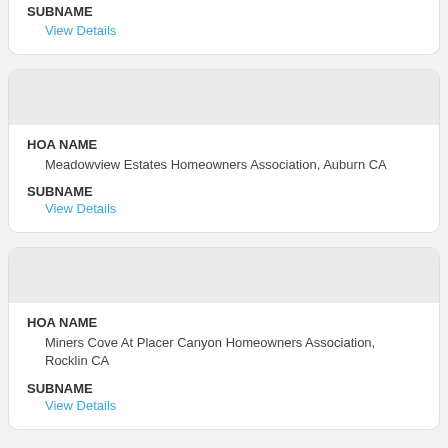SUBNAME
View Details
HOA NAME
Meadowview Estates Homeowners Association, Auburn CA
SUBNAME
View Details
HOA NAME
Miners Cove At Placer Canyon Homeowners Association, Rocklin CA
SUBNAME
View Details